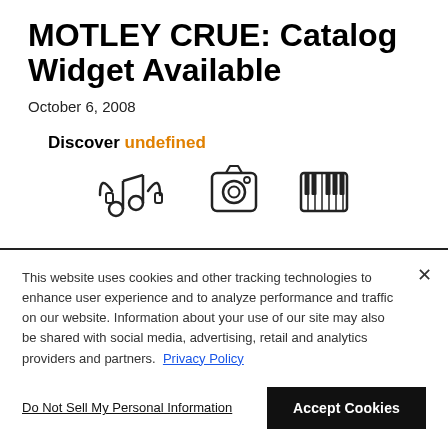MOTLEY CRUE: Catalog Widget Available
October 6, 2008
Discover undefined
[Figure (illustration): Three music-related icons: a music notes/headphones icon, a camera/photo album icon, and a piano/keyboard icon]
This website uses cookies and other tracking technologies to enhance user experience and to analyze performance and traffic on our website. Information about your use of our site may also be shared with social media, advertising, retail and analytics providers and partners. Privacy Policy
Do Not Sell My Personal Information
Accept Cookies